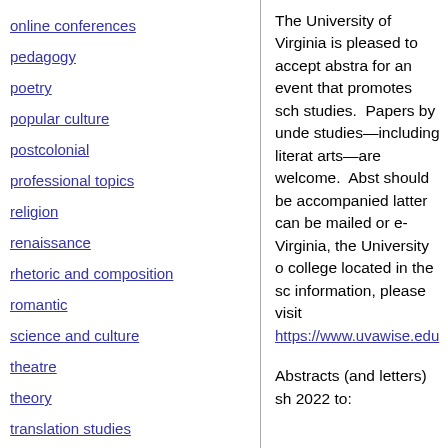online conferences
pedagogy
poetry
popular culture
postcolonial
professional topics
religion
renaissance
rhetoric and composition
romantic
science and culture
theatre
theory
translation studies
The University of Virginia is pleased to accept abstracts for an event that promotes scholarship in English studies. Papers by undergraduates in English studies—including literature, writing, and the arts—are welcome. Abstracts (250 words) should be accompanied by a letter. The latter can be mailed or emailed. Located in Virginia, the University of Virginia Wise is a college located in the southern Appalachians. For more information, please visit https://www.uvawise.edu
Abstracts (and letters) should be sent by 2022 to: